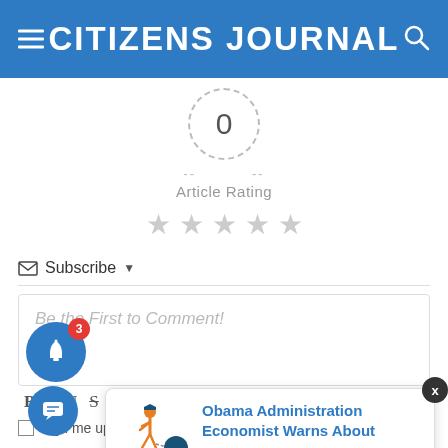CITIZENS JOURNAL
[Figure (infographic): Article rating widget showing a circle with '0' rating, dashes on each side, 'Article Rating' label, and five grey stars below]
Subscribe ▼
Be the First to Comment!
B I U S
Sign me up fo
[Figure (infographic): Blue circular notification bell button with red badge showing '3']
[Figure (screenshot): Notification popup card showing an illustration of a person dragging a loan ball and chain, with title 'Obama Administration Economist Warns About' in blue, and '7 hours ago' in grey]
[Figure (infographic): Blue circular chat/message button at bottom left]